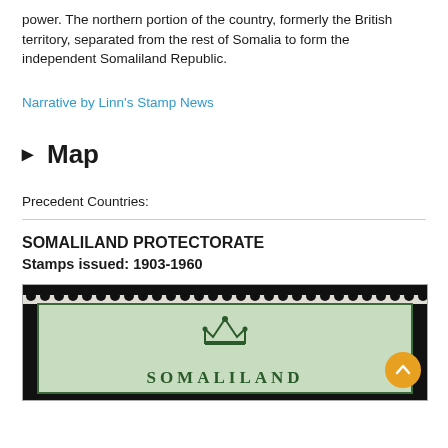power. The northern portion of the country, formerly the British territory, separated from the rest of Somalia to form the independent Somaliland Republic.
Narrative by Linn's Stamp News
▶ Map
Precedent Countries:
SOMALILAND PROTECTORATE
Stamps issued: 1903-1960
[Figure (photo): Photograph of a stamp from Somaliland Protectorate showing perforated edges at top, a crown emblem, and the text SOMALILAND at the bottom on a green background with black border]